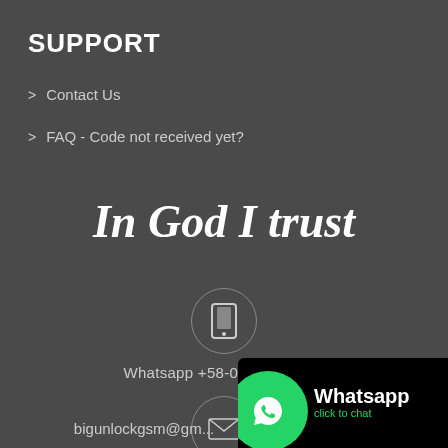SUPPORT
> Contact Us
> FAQ - Code not received yet?
In God I trust
[Figure (illustration): Phone/mobile device icon inside a circle]
Whatsapp +58-04246653042
[Figure (illustration): Envelope/email icon inside a circle]
bigunlockgsm@gm...
[Figure (logo): WhatsApp click to chat badge with green WhatsApp logo and text 'Whatsapp click to chat' on black background]